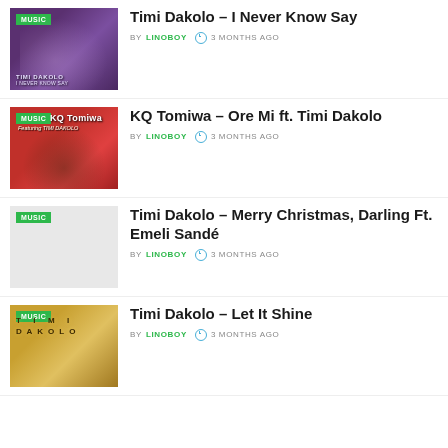[Figure (photo): Album cover for Timi Dakolo - I Never Know Say, showing two people with a purple/dark background, MUSIC badge overlay]
Timi Dakolo – I Never Know Say
BY LINOBOY  3 MONTHS AGO
[Figure (photo): Album cover for KQ Tomiwa featuring Timi Dakolo - Ore Mi, red background with two people, MUSIC badge overlay]
KQ Tomiwa – Ore Mi ft. Timi Dakolo
BY LINOBOY  3 MONTHS AGO
[Figure (photo): Album cover for Timi Dakolo - Merry Christmas Darling ft. Emeli Sandé, light/white background, MUSIC badge overlay]
Timi Dakolo – Merry Christmas, Darling Ft. Emeli Sandé
BY LINOBOY  3 MONTHS AGO
[Figure (photo): Album cover for Timi Dakolo - Let It Shine, golden/warm background with text, MUSIC badge overlay]
Timi Dakolo – Let It Shine
BY LINOBOY  3 MONTHS AGO